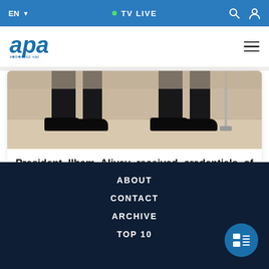EN  |  TV LIVE
[Figure (logo): APA news agency logo with italic bold blue text and tagline 'xəbəriniz var']
[Figure (photo): Photo showing the lower half of two people in dark suits and black shoes standing on a marble floor, with a microphone stand visible on the right]
President Ilham Aliyev received credentials of the newly appointed ambassador of Ethiopia
11:34   18 August 2022
ABOUT
CONTACT
ARCHIVE
TOP 10